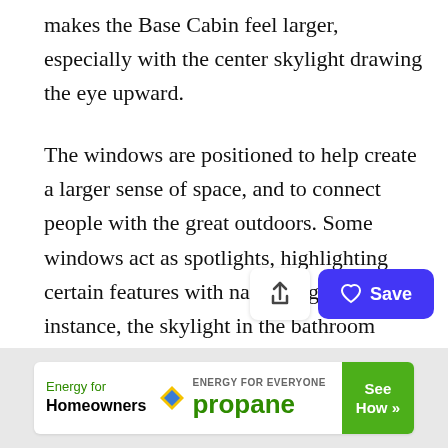makes the Base Cabin feel larger, especially with the center skylight drawing the eye upward.
The windows are positioned to help create a larger sense of space, and to connect people with the great outdoors. Some windows act as spotlights, highlighting certain features with natural light. For instance, the skylight in the bathroom welcomes in natural light in the center of the cabin, and it can be opened to allow natural venting.
[Figure (other): Share button (upload icon) and Save button (heart icon, blue background) action buttons]
[Figure (other): Advertisement banner: Energy for Homeowners - ENERGY FOR EVERYONE propane - See How >>]